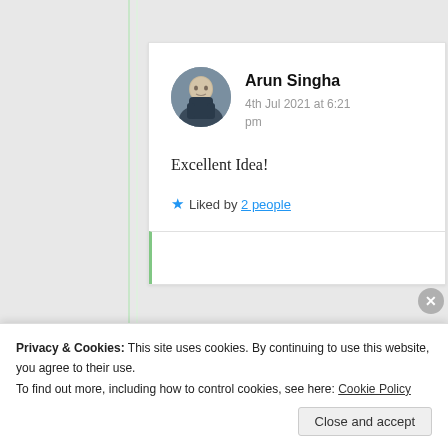[Figure (photo): Circular avatar photo of a person in a dark suit sitting at a desk]
Arun Singha
4th Jul 2021 at 6:21 pm
Excellent Idea!
★ Liked by 2 people
Privacy & Cookies: This site uses cookies. By continuing to use this website, you agree to their use.
To find out more, including how to control cookies, see here: Cookie Policy
Close and accept